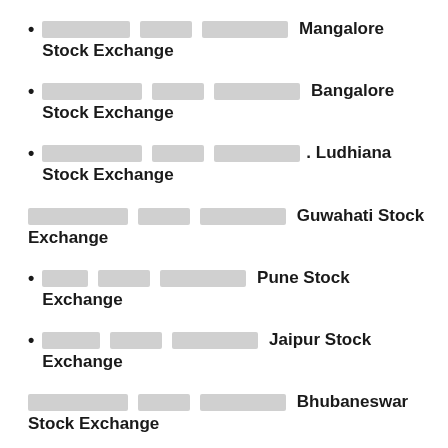xxxxxxxx xxxxx xxxxxxxxx Mangalore Stock Exchange
xxxxxxxxx xxxxx xxxxxxxxx Bangalore Stock Exchange
xxxxxxxxx xxxxx xxxxxxxxx. Ludhiana Stock Exchange
xxxxxxxxx xxxxx xxxxxxxxx Guwahati Stock Exchange
xxxx xxxxx xxxxxxxxx Pune Stock Exchange
xxxxx xxxxx xxxxxxxxx Jaipur Stock Exchange
xxxxxxxxx xxxxx xxxxxxxxx Bhubaneswar Stock Exchange